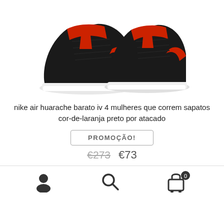[Figure (photo): Two black and red Nike Air Huarache sneakers on a white background, shown from a front-angled view]
nike air huarache barato iv 4 mulheres que correm sapatos cor-de-laranja preto por atacado
PROMOÇÃO!
€273  €73
[Figure (infographic): Bottom navigation bar with user icon, search icon, and shopping cart icon with badge showing 0]